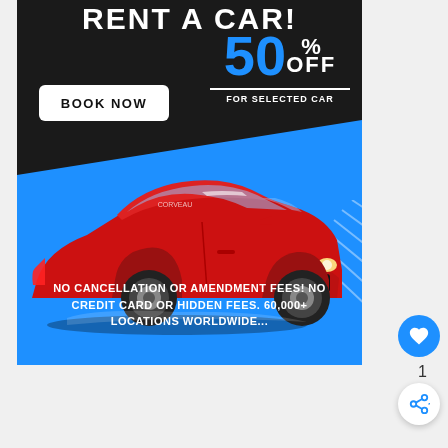RENT A CAR!
50% OFF FOR SELECTED CAR
BOOK NOW
[Figure (photo): Red sports car (Ford Mustang style) on blue and dark background]
NO CANCELLATION OR AMENDMENT FEES! NO CREDIT CARD OR HIDDEN FEES. 60,000+ LOCATIONS WORLDWIDE...